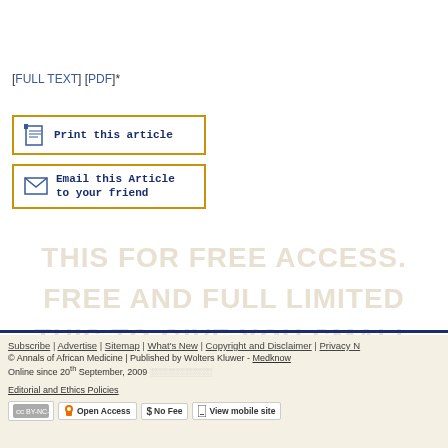[FULL TEXT] [PDF]*
[Figure (other): Print this article button with document icon]
[Figure (other): Email this Article to your friend button with envelope icon]
[Figure (other): Watermark text area with faded background text]
Subscribe | Advertise | Sitemap | What's New | Copyright and Disclaimer | Privacy N...
© Annals of African Medicine | Published by Wolters Kluwer - Medknow
Online since 20th September, 2009
Editorial and Ethics Policies
[CC BY-NC-SA] [Open Access] [$ No Fee] [View mobile site]